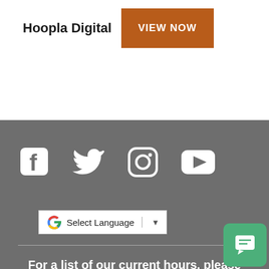Hoopla Digital
VIEW NOW
[Figure (infographic): Social media icons: Facebook, Twitter, Instagram, YouTube in white on grey background]
[Figure (other): Google Translate widget: G logo with Select Language text and dropdown arrow]
For a list of our current hours, please visit our Hours, Locations & Contact page.